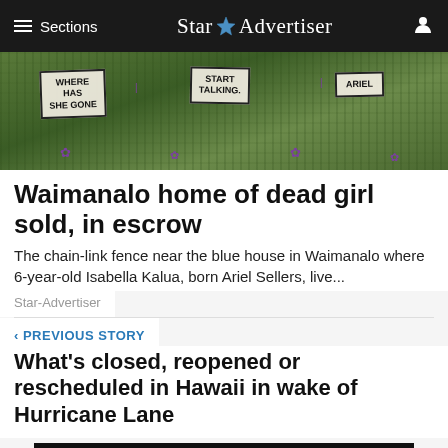≡ Sections  Star ★ Advertiser
[Figure (photo): Photo of a chain-link fence with protest signs reading 'WHERE HAS SHE GONE', 'START TALKING', and 'ARIEL' with purple pinwheels in a grassy area]
Waimanalo home of dead girl sold, in escrow
The chain-link fence near the blue house in Waimanalo where 6-year-old Isabella Kalua, born Ariel Sellers, live...
Star-Advertiser
< PREVIOUS STORY
What's closed, reopened or rescheduled in Hawaii in wake of Hurricane Lane
ADVERTISEMENT
ℹ Our Privacy Policy has been updated. By
About Us  Media Kit  Advertise  Privacy Policy  Contact Information  Terms of Service